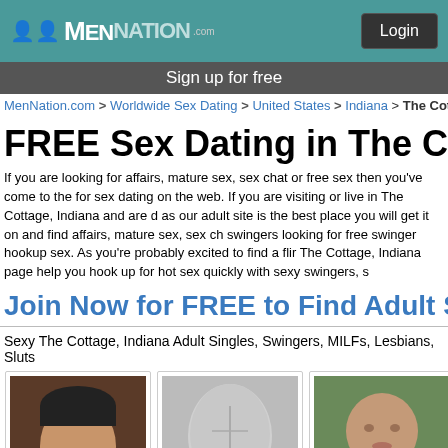MenNation.com — Login
Sign up for free
MenNation.com > Worldwide Sex Dating > United States > Indiana > The Cott
FREE Sex Dating in The Cottage
If you are looking for affairs, mature sex, sex chat or free sex then you've come to the for sex dating on the web. If you are visiting or live in The Cottage, Indiana and are d as our adult site is the best place you will get it on and find affairs, mature sex, sex ch swingers looking for free swinger hookup sex. As you're probably excited to find a flir The Cottage, Indiana page help you hook up for hot sex quickly with sexy swingers, s
Join Now for FREE to Find Adult Sex Near The
Sexy The Cottage, Indiana Adult Singles, Swingers, MILFs, Lesbians, Sluts
[Figure (photo): Profile photo of squire150, male, 27, from The Cottage Indiana]
squire150
27/M
The Cottage, Indiana
[Figure (photo): Profile photo of hullguy1000, male, 28, from Park Forest Illinois]
hullguy1000
28/M
Park Forest, Illinois
[Figure (photo): Profile photo of MrWarmanNC, male, 20, from Crete Illinois]
MrWarmanNC
20/M
Crete, Illinois